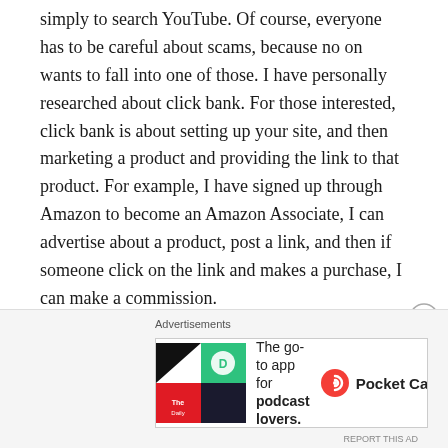simply to search YouTube. Of course, everyone has to be careful about scams, because no on wants to fall into one of those. I have personally researched about click bank. For those interested, click bank is about setting up your site, and then marketing a product and providing the link to that product. For example, I have signed up through Amazon to become an Amazon Associate, I can advertise about a product, post a link, and then if someone click on the link and makes a purchase, I can make a commission.
So, a product that you can find on Amazon that my family LOVES is Nu Go Slim Crunchy Peanut Butter Protein bars. They are Vegan and Gluten Free for those with dietary restrictions. They are high in protein, 17g,
Advertisements
[Figure (other): Pocket Casts advertisement banner: colorful app icon on left, text 'The go-to app for podcast lovers.' with Pocket Casts logo and name on right]